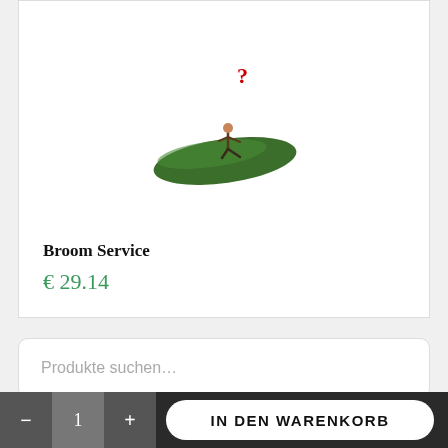[Figure (illustration): Illustration of a small person sitting on a green curved surface (like a leaf or hammock) with a red question mark above them]
Broom Service
€ 29.14
Produkte suchen…
SUCHE
- 1 + IN DEN WARENKORB